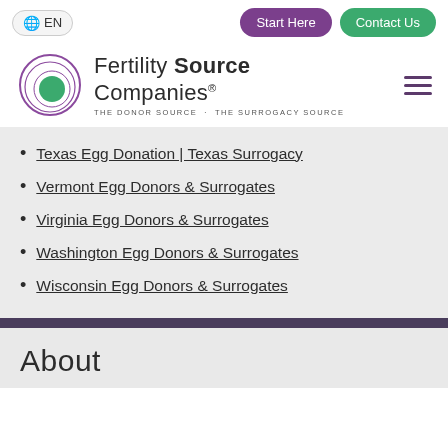EN | Start Here | Contact Us
[Figure (logo): Fertility Source Companies logo with circular eye graphic and tagline THE DONOR SOURCE · THE SURROGACY SOURCE]
Texas Egg Donation | Texas Surrogacy
Vermont Egg Donors & Surrogates
Virginia Egg Donors & Surrogates
Washington Egg Donors & Surrogates
Wisconsin Egg Donors & Surrogates
About